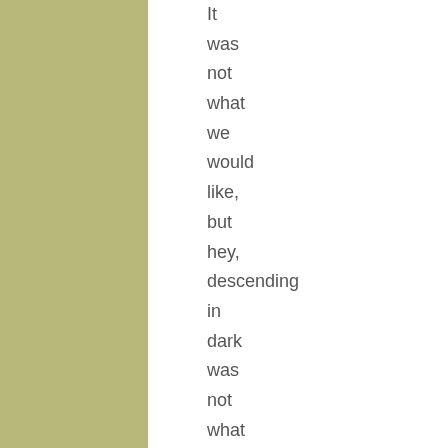It was not what we would like, but hey, descending in dark was not what we would like either. We accepted it.